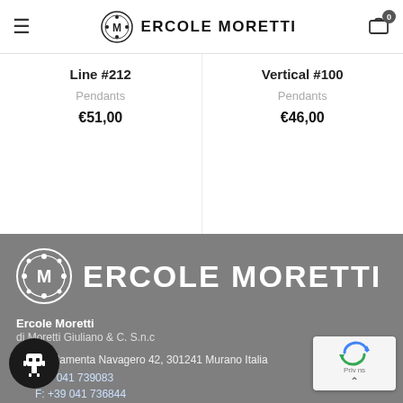Ercole Moretti — navigation bar with logo and cart
Line #212
Vertical #100
Pendants
Pendants
€51,00
€46,00
[Figure (logo): Ercole Moretti logo in white on grey background — circular medallion with M and floral pattern, beside bold text ERCOLE MORETTI]
Ercole Moretti
di Moretti Giuliano & C. S.n.c
Fondamenta Navagero 42, 301241 Murano Italia
+39 041 739083
F: +39 041 736844